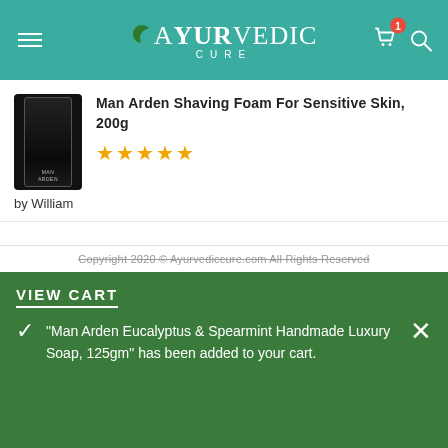Ayurvedic Cure
Man Arden Shaving Foam For Sensitive Skin, 200g — 5 stars — by William
Man Arden 7X Activated Charcoal Peel Off Mask, 100ml — 4 stars — by Hudson
Copyright 2020 © Ayurvediccure.com All Rights Reserved
VIEW CART
"Man Arden Eucalyptus & Spearmint Handmade Luxury Soap, 125gm" has been added to your cart.